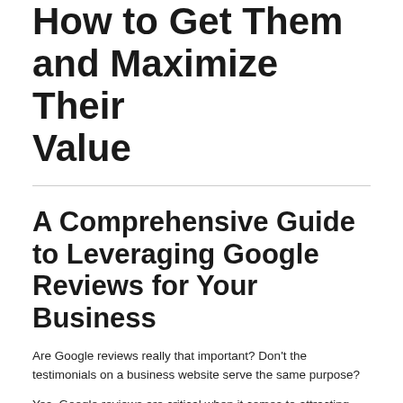How to Get Them and Maximize Their Value
A Comprehensive Guide to Leveraging Google Reviews for Your Business
Are Google reviews really that important? Don't the testimonials on a business website serve the same purpose?
Yes, Google reviews are critical when it comes to attracting